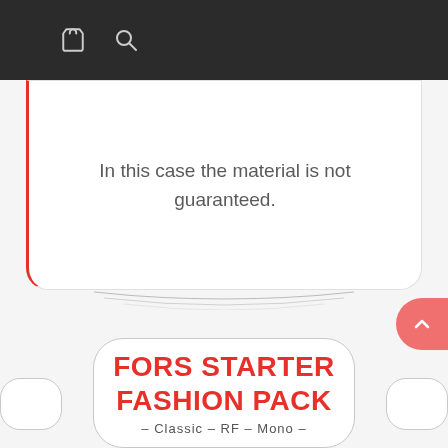[Figure (screenshot): Dark navigation header bar with shopping bag icon and search/magnifier icon on white background]
In this case the material is not guaranteed.
[Figure (illustration): Scroll-to-top button (salmon/coral color) on the right edge]
FORS STARTER FASHION PACK
– Classic – RF – Mono –